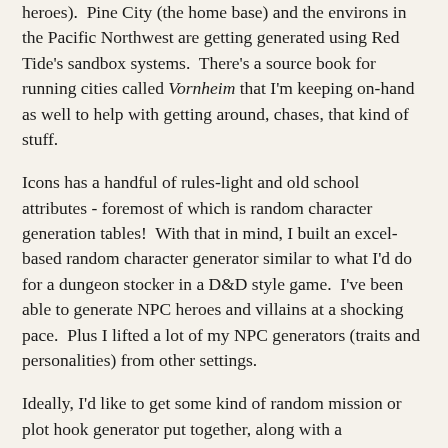heroes).  Pine City (the home base) and the environs in the Pacific Northwest are getting generated using Red Tide's sandbox systems.  There's a source book for running cities called Vornheim that I'm keeping on-hand as well to help with getting around, chases, that kind of stuff.
Icons has a handful of rules-light and old school attributes - foremost of which is random character generation tables!  With that in mind, I built an excel-based random character generator similar to what I'd do for a dungeon stocker in a D&D style game.  I've been able to generate NPC heroes and villains at a shocking pace.  Plus I lifted a lot of my NPC generators (traits and personalities) from other settings.
Ideally, I'd like to get some kind of random mission or plot hook generator put together, along with a relationship generator.  Characters in anime (and even comics, to a lesser extent) are always remembering pre-existing relationships with the villain they just encountered.
However, I'd like to have either a light touch or non-existent hand at pushing plots on the players - years of running plotless dungeons have conditioned me to resist putting in any real story follow-through.